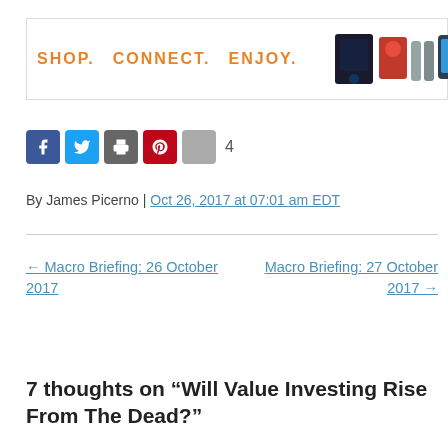[Figure (other): Amazon advertisement banner with SHOP. CONNECT. ENJOY. text and product images]
[Figure (other): Social media sharing buttons: Facebook, Twitter, Print, Pinterest, plus, count 4]
By James Picerno | Oct 26, 2017 at 07:01 am EDT
← Macro Briefing: 26 October 2017
Macro Briefing: 27 October 2017 →
7 thoughts on “Will Value Investing Rise From The Dead?”